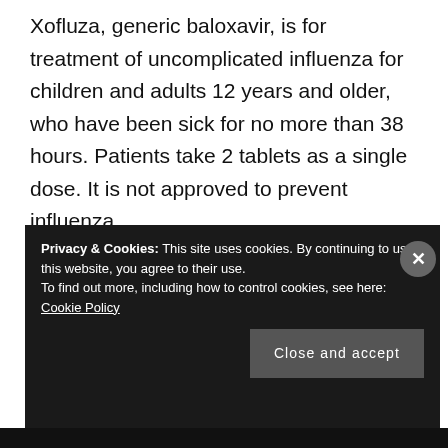Xofluza, generic baloxavir, is for treatment of uncomplicated influenza for children and adults 12 years and older, who have been sick for no more than 38 hours. Patients take 2 tablets as a single dose. It is not approved to prevent influenza.
Privacy & Cookies: This site uses cookies. By continuing to use this website, you agree to their use. To find out more, including how to control cookies, see here: Cookie Policy